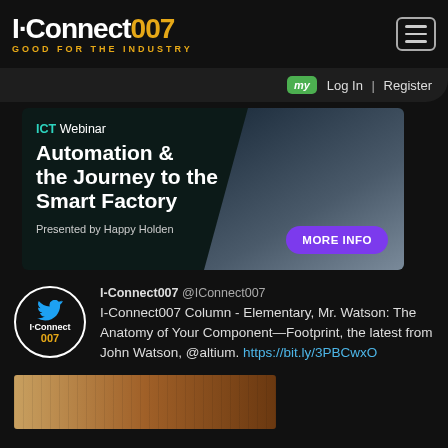I-Connect007 GOOD FOR THE INDUSTRY
my Log In | Register
[Figure (screenshot): ICT Webinar advertisement banner: 'Automation & the Journey to the Smart Factory' presented by Happy Holden, with MORE INFO button]
I-Connect007 @IConnect007
I-Connect007 Column - Elementary, Mr. Watson: The Anatomy of Your Component—Footprint, the latest from John Watson, @altium. https://bit.ly/3PBCwxO
[Figure (photo): Partial bottom strip image, appears to be a sandy or earthy-colored photograph]